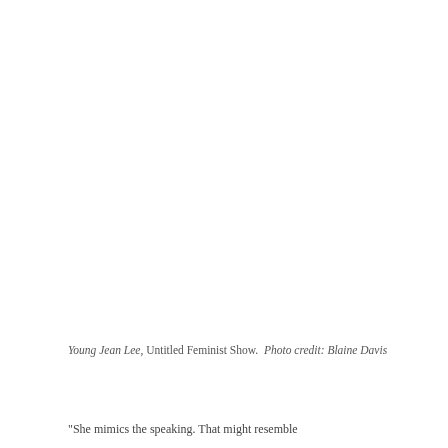[Figure (photo): Large blank/white area representing a photo of Young Jean Lee's Untitled Feminist Show (image area appears white/blank in scan)]
Young Jean Lee, Untitled Feminist Show.  Photo credit: Blaine Davis
"She mimics the speaking. That might resemble